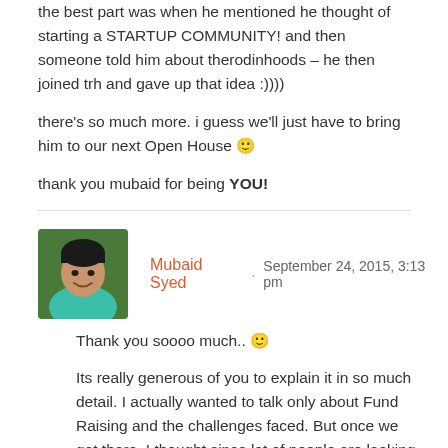the best part was when he mentioned he thought of starting a STARTUP COMMUNITY! and then someone told him about therodinhoods – he then joined trh and gave up that idea :))))
there's so much more. i guess we'll just have to bring him to our next Open House 🙂
thank you mubaid for being YOU!
Mubaid Syed · September 24, 2015, 3:13 pm
[Figure (photo): Profile photo of Mubaid Syed, a young man smiling, wearing a teal/turquoise shirt]
Thank you soooo much.. 🙂
Its really generous of you to explain it in so much detail. I actually wanted to talk only about Fund Raising and the challenges faced. But once we got there, I thought since lot of people are looking to start something of their own, I talked more about the journey and challenges faced. It was all on-the-spot.